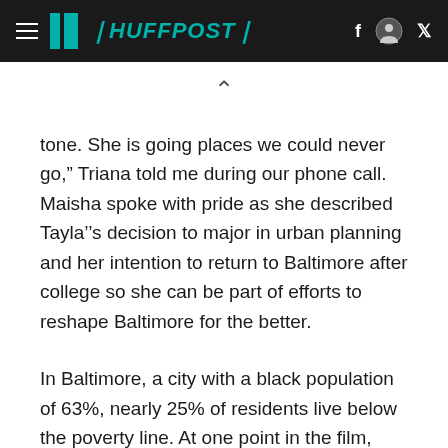HUFFPOST
tone. She is going places we could never go,” Triana told me during our phone call. Maisha spoke with pride as she described Tayla’’s decision to major in urban planning and her intention to return to Baltimore after college so she can be part of efforts to reshape Baltimore for the better.
In Baltimore, a city with a black population of 63%, nearly 25% of residents live below the poverty line. At one point in the film, Blessin sheds a tear as she speaks about being hungry